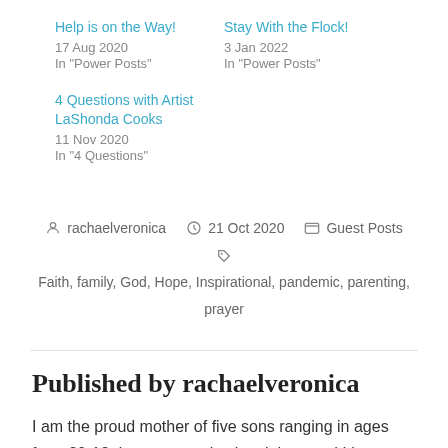Help is on the Way!
17 Aug 2020
In "Power Posts"
Stay With the Flock!
3 Jan 2022
In "Power Posts"
4 Questions with Artist LaShonda Cooks
11 Nov 2020
In "4 Questions"
rachaelveronica  21 Oct 2020  Guest Posts
Faith, family, God, Hope, Inspirational, pandemic, parenting, prayer
Published by rachaelveronica
I am the proud mother of five sons ranging in ages from 30-13. I am very active in ministry and I have a